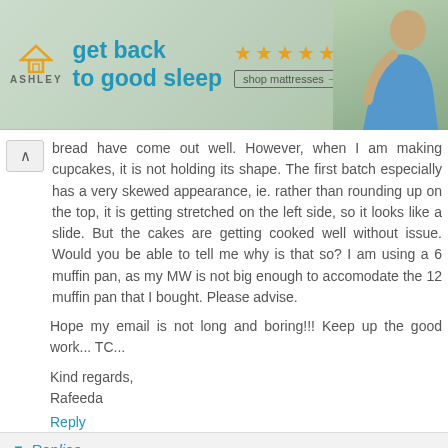[Figure (photo): Ashley Furniture advertisement banner: Ashley logo with house icon, 'get back to good sleep' tagline in blue, five orange stars, 'shop mattresses →' button, and a photo of a woman on a bed]
bread have come out well. However, when I am making cupcakes, it is not holding its shape. The first batch especially has a very skewed appearance, ie. rather than rounding up on the top, it is getting stretched on the left side, so it looks like a slide. But the cakes are getting cooked well without issue. Would you be able to tell me why is that so? I am using a 6 muffin pan, as my MW is not big enough to accomodate the 12 muffin pan that I bought. Please advise.
Hope my email is not long and boring!!! Keep up the good work... TC...
Kind regards,
Rafeeda
Reply
Replies